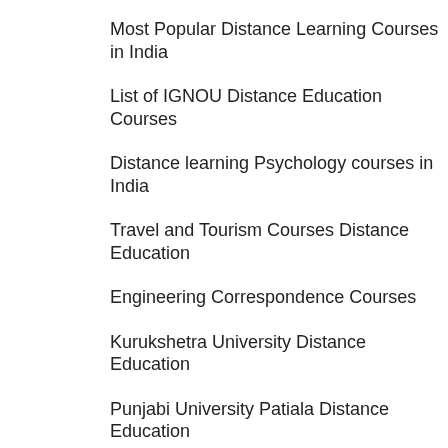Most Popular Distance Learning Courses in India
List of IGNOU Distance Education Courses
Distance learning Psychology courses in India
Travel and Tourism Courses Distance Education
Engineering Correspondence Courses
Kurukshetra University Distance Education
Punjabi University Patiala Distance Education
Top 10 Distance Education Universities for B.Com
Top Distance Education Universities
Top 10 Distance Education Universities for Bachelor of Arts (BA)
Top 10 Distance Education Universities for Master of Arts (MA)